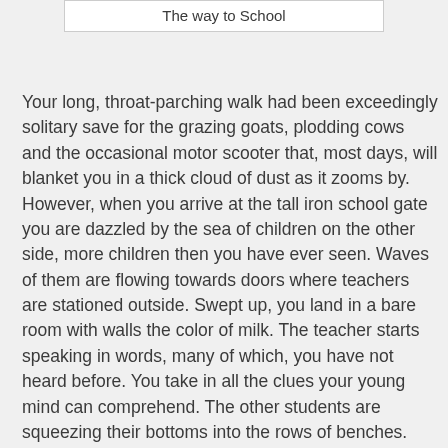The way to School
Your long, throat-parching walk had been exceedingly solitary save for the grazing goats, plodding cows and the occasional motor scooter that, most days, will blanket you in a thick cloud of dust as it zooms by. However, when you arrive at the tall iron school gate you are dazzled by the sea of children on the other side, more children then you have ever seen. Waves of them are flowing towards doors where teachers are stationed outside. Swept up, you land in a bare room with walls the color of milk. The teacher starts speaking in words, many of which, you have not heard before. You take in all the clues your young mind can comprehend. The other students are squeezing their bottoms into the rows of benches. You squish in too.